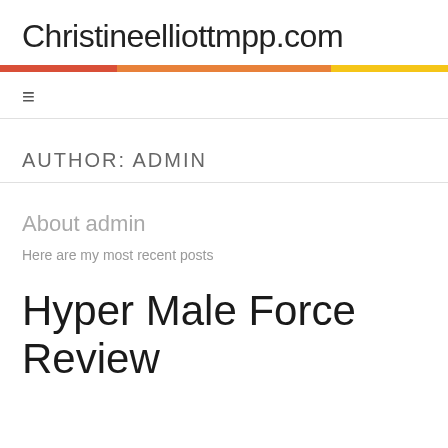Christineelliottmpp.com
AUTHOR: ADMIN
About admin
Here are my most recent posts
Hyper Male Force Review